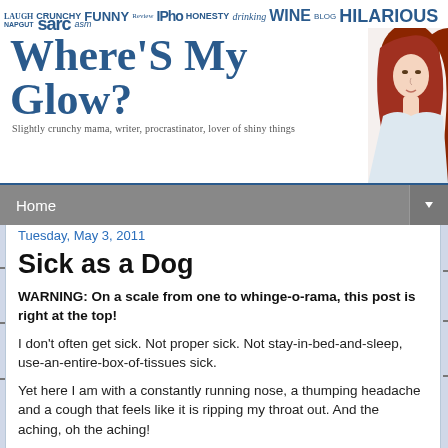[Figure (illustration): Blog header banner for 'Where's My Glow?' featuring tag cloud with words like FUNNY, CRUNCHY, HONESTY, WINE, HILARIOUS, drinking, BLOG, and handwritten/mixed typography in blue tones, plus a photo of a red-haired woman on the right side.]
Where's My Glow?
Slightly crunchy mama, writer, procrastinator, lover of shiny things
Home
Tuesday, May 3, 2011
Sick as a Dog
WARNING: On a scale from one to whinge-o-rama, this post is right at the top!
I don't often get sick. Not proper sick. Not stay-in-bed-and-sleep, use-an-entire-box-of-tissues sick.
Yet here I am with a constantly running nose, a thumping headache and a cough that feels like it is ripping my throat out. And the aching, oh the aching!